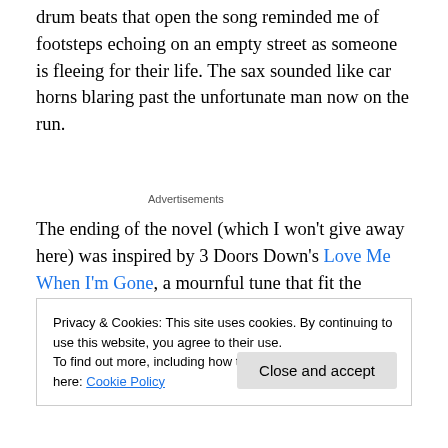drum beats that open the song reminded me of footsteps echoing on an empty street as someone is fleeing for their life. The sax sounded like car horns blaring past the unfortunate man now on the run.
Advertisements
The ending of the novel (which I won't give away here) was inspired by 3 Doors Down's Love Me When I'm Gone, a mournful tune that fit the ending of the book rather
Privacy & Cookies: This site uses cookies. By continuing to use this website, you agree to their use.
To find out more, including how to control cookies, see here: Cookie Policy
Close and accept